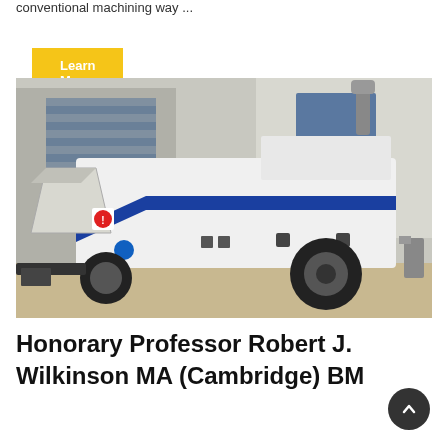conventional machining way ...
Learn More
[Figure (photo): A white concrete pump truck with blue stripe livery parked outside an industrial building. The machine has a large hopper on the left side, a cylindrical tank on top, and is mounted on a wheeled trailer chassis. A black exhaust pipe protrudes from the top rear.]
Honorary Professor Robert J. Wilkinson MA (Cambridge) BM